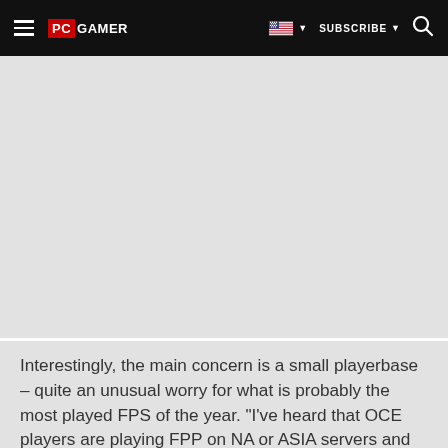PC GAMER | SUBSCRIBE
[Figure (screenshot): Gray/light content area placeholder (advertisement or image area)]
Interestingly, the main concern is a small playerbase – quite an unusual worry for what is probably the most played FPS of the year. "I've heard that OCE players are playing FPP on NA or ASIA servers and would like